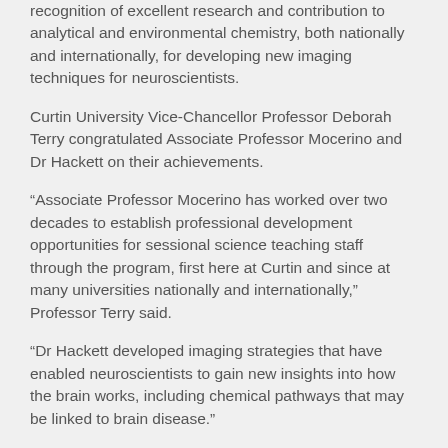recognition of excellent research and contribution to analytical and environmental chemistry, both nationally and internationally, for developing new imaging techniques for neuroscientists.
Curtin University Vice-Chancellor Professor Deborah Terry congratulated Associate Professor Mocerino and Dr Hackett on their achievements.
“Associate Professor Mocerino has worked over two decades to establish professional development opportunities for sessional science teaching staff through the program, first here at Curtin and since at many universities nationally and internationally,” Professor Terry said.
“Dr Hackett developed imaging strategies that have enabled neuroscientists to gain new insights into how the brain works, including chemical pathways that may be linked to brain disease.”